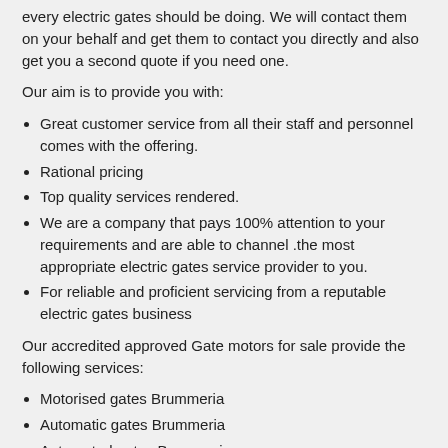every electric gates should be doing. We will contact them on your behalf and get them to contact you directly and also get you a second quote if you need one.
Our aim is to provide you with:
Great customer service from all their staff and personnel comes with the offering.
Rational pricing
Top quality services rendered.
We are a company that pays 100% attention to your requirements and are able to channel .the most appropriate electric gates service provider to you.
For reliable and proficient servicing from a reputable electric gates business
Our accredited approved Gate motors for sale provide the following services:
Motorised gates Brummeria
Automatic gates Brummeria
Automated gates Brummeria
Driveway sliding security gates Brummeria
Electric gates Brummeria
Gate automation Brummeria
Gate motors for sale Brummeria
Security gate installation Brummeria
Wrought iron gate installation Brummeria